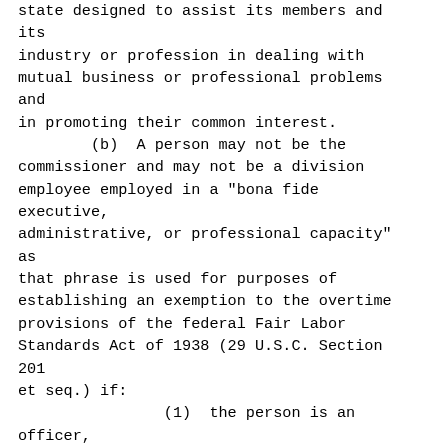state designed to assist its members and its industry or profession in dealing with mutual business or professional problems and in promoting their common interest.
        (b)  A person may not be the commissioner and may not be a division employee employed in a "bona fide executive, administrative, or professional capacity" as that phrase is used for purposes of establishing an exemption to the overtime provisions of the federal Fair Labor Standards Act of 1938 (29 U.S.C. Section 201 et seq.) if:
                (1)  the person is an officer, employee, or paid consultant of a Texas trade association in the field of workers' compensation; or
                (2)  the person's spouse is an officer, manager, or paid consultant of a